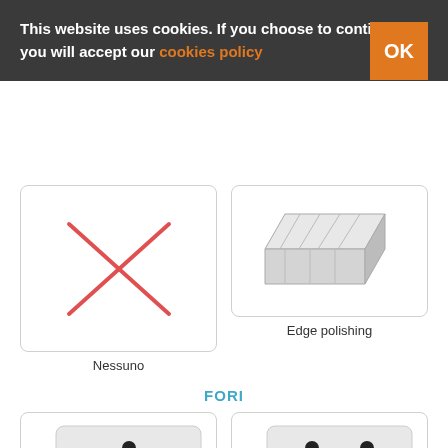This website uses cookies. If you choose to continue you will accept our cookies policy
[Figure (illustration): Red X mark on white card background, labeled Nessuno]
Nessuno
[Figure (illustration): Edge polishing illustration showing a corner of glass or stone with polished edge]
Edge polishing
FORI
[Figure (illustration): Card showing one hole (fori option 1)]
[Figure (illustration): Card showing two holes (fori option 2)]